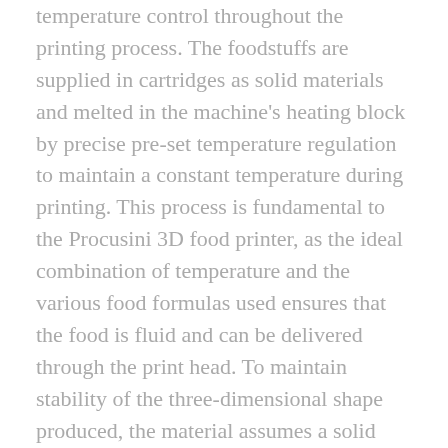temperature control throughout the printing process. The foodstuffs are supplied in cartridges as solid materials and melted in the machine's heating block by precise pre-set temperature regulation to maintain a constant temperature during printing. This process is fundamental to the Procusini 3D food printer, as the ideal combination of temperature and the various food formulas used ensures that the food is fluid and can be delivered through the print head. To maintain stability of the three-dimensional shape produced, the material assumes a solid consistency at room temperature.
Variohm's series II epoxy-clad NTC thermistors function as NTC resistor-based NTC thermistors, with resistance decreasing as temperature increases. Particularly suitable for temperature